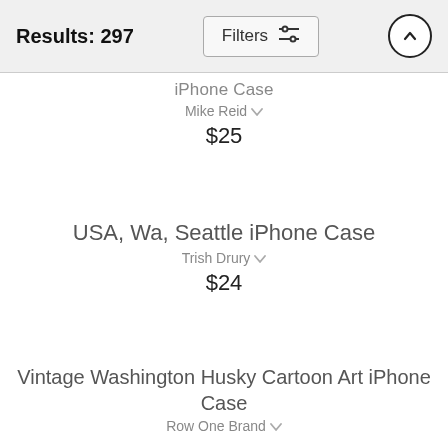Results: 297  Filters
iPhone Case
Mike Reid
$25
USA, Wa, Seattle iPhone Case
Trish Drury
$24
Vintage Washington Husky Cartoon Art iPhone Case
Row One Brand